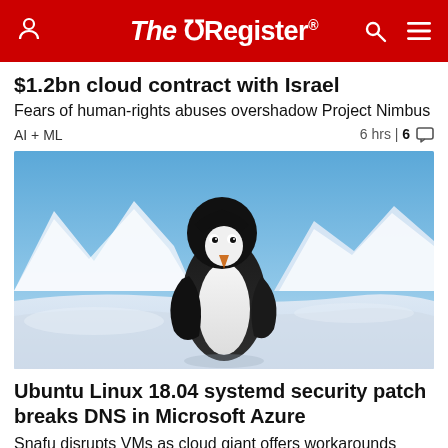The Register
$1.2bn cloud contract with Israel
Fears of human-rights abuses overshadow Project Nimbus
AI + ML    6 hrs | 6
[Figure (photo): A penguin standing on snow and ice with snowy mountains and blue sky in the background]
Ubuntu Linux 18.04 systemd security patch breaks DNS in Microsoft Azure
Snafu disrupts VMs as cloud giant offers workarounds